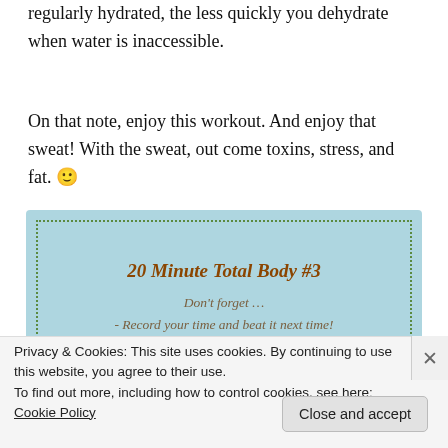regularly hydrated, the less quickly you dehydrate when water is inaccessible.
On that note, enjoy this workout. And enjoy that sweat! With the sweat, out come toxins, stress, and fat. 🙂
[Figure (infographic): Light blue box with dotted green border containing workout card titled '20 Minute Total Body #3' with italic text: Don't forget... - Record your time and beat it next time! - Stretch all major muscle groups before...]
Privacy & Cookies: This site uses cookies. By continuing to use this website, you agree to their use.
To find out more, including how to control cookies, see here: Cookie Policy